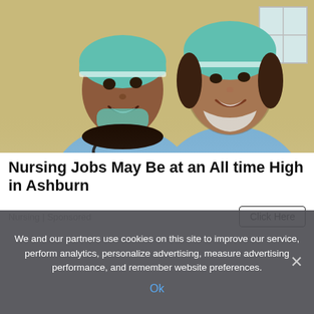[Figure (photo): Two female nurses/medical professionals in scrubs and surgical caps, smiling and looking back over their shoulders. One has darker skin and a stethoscope, the other is lighter-skinned. Background is a warm yellow/tan hospital environment.]
Nursing Jobs May Be at an All time High in Ashburn
Nursing | Sponsored
Click Here
We and our partners use cookies on this site to improve our service, perform analytics, personalize advertising, measure advertising performance, and remember website preferences.
Ok